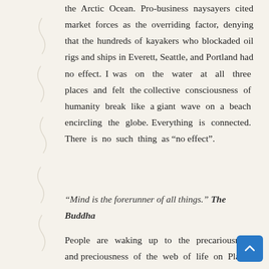the Arctic Ocean. Pro-business naysayers cited market forces as the overriding factor, denying that the hundreds of kayakers who blockaded oil rigs and ships in Everett, Seattle, and Portland had no effect. I was on the water at all three places and felt the collective consciousness of humanity break like a giant wave on a beach encircling the globe. Everything is connected. There is no such thing as "no effect".
“Mind is the forerunner of all things.” The Buddha
People are waking up to the precariousness and preciousness of the web of life on Planet Earth of which the human species forms but a single strand. Kayaktivism is a new form of political and spiritual expression tapping into the power and connection